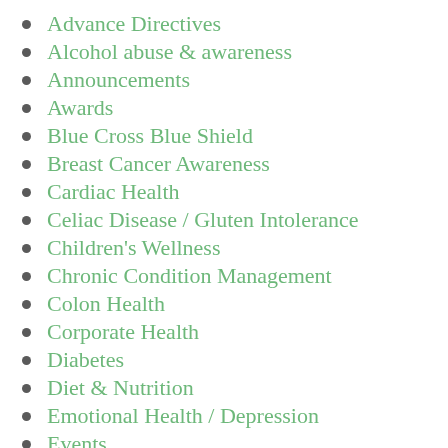Advance Directives
Alcohol abuse & awareness
Announcements
Awards
Blue Cross Blue Shield
Breast Cancer Awareness
Cardiac Health
Celiac Disease / Gluten Intolerance
Children's Wellness
Chronic Condition Management
Colon Health
Corporate Health
Diabetes
Diet & Nutrition
Emotional Health / Depression
Events